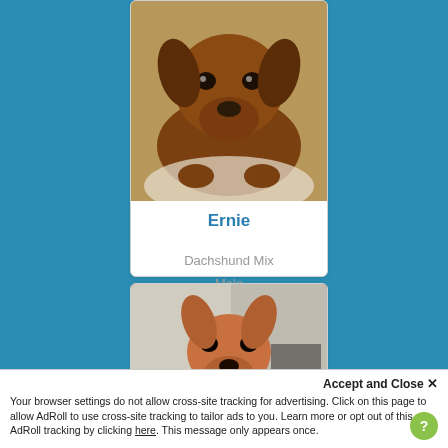[Figure (photo): Photo of Ernie, a brown dachshund mix dog lying on white bedding, looking at the camera.]
Ernie
Dachshund Mix
Male
[Figure (photo): Photo of a brown and white dog sitting upright on a tiled floor, facing the camera with a collar.]
Accept and Close ✕
Your browser settings do not allow cross-site tracking for advertising. Click on this page to allow AdRoll to use cross-site tracking to tailor ads to you. Learn more or opt out of this AdRoll tracking by clicking here. This message only appears once.